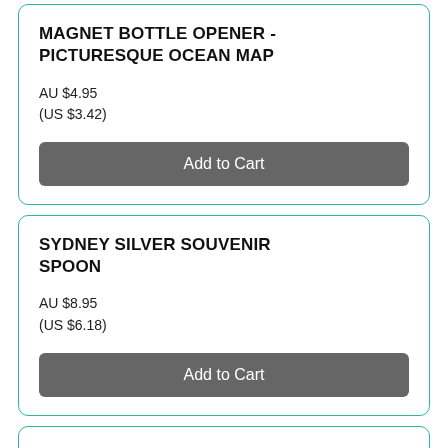MAGNET BOTTLE OPENER - PICTURESQUE OCEAN MAP
AU $4.95
(US $3.42)
Add to Cart
SYDNEY SILVER SOUVENIR SPOON
AU $8.95
(US $6.18)
Add to Cart